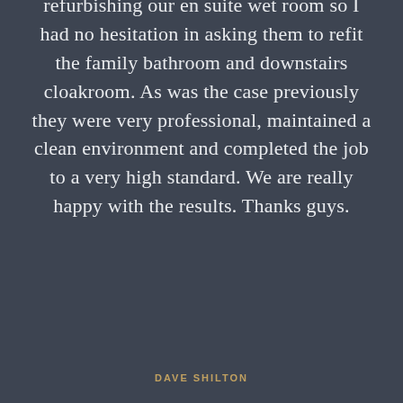refurbishing our en suite wet room so I had no hesitation in asking them to refit the family bathroom and downstairs cloakroom. As was the case previously they were very professional, maintained a clean environment and completed the job to a very high standard. We are really happy with the results. Thanks guys.
DAVE SHILTON